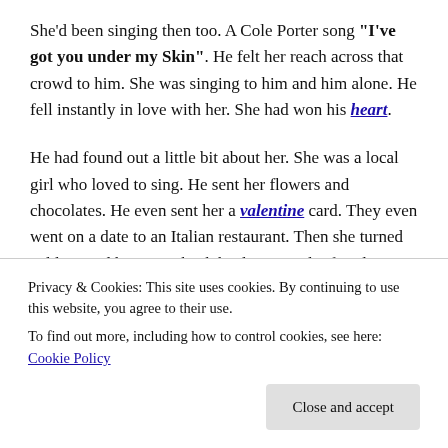She'd been singing then too. A Cole Porter song "I've got you under my Skin". He felt her reach across that crowd to him. She was singing to him and him alone. He fell instantly in love with her. She had won his heart.
He had found out a little bit about her. She was a local girl who loved to sing. He sent her flowers and chocolates. He even sent her a valentine card. They even went on a date to an Italian restaurant. Then she turned cold toward him, sent back his letters and refused to see him when he turned up at the bar she worked at. How could she entice him one minute then reject him the next? He couldn't take
Privacy & Cookies: This site uses cookies. By continuing to use this website, you agree to their use.
To find out more, including how to control cookies, see here: Cookie Policy
hit her if she hadn't screamed.